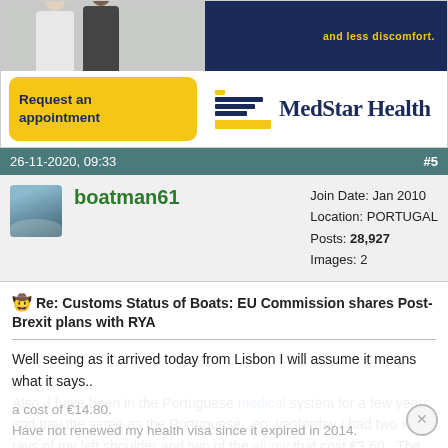[Figure (advertisement): MedStar Health advertisement with photo of two people, yellow 'Request an appointment' button, MedStar Health logo with blue and yellow design elements]
26-11-2020, 09:33   #5
boatman61
Join Date: Jan 2010
Location: PORTUGAL
Posts: 28,927
Images: 2
Re: Customs Status of Boats: EU Commission shares Post-Brexit plans with RYA
Well seeing as it arrived today from Lisbon I will assume it means what it says..
Also, I have been in the Portuguese medical system for a few years and pay the same as the Portuguese.. eg: yesterday I had two x-rays of my left shoulder and two of the elbow that cost €3.60.. The day before had the treadmill cardio test and 24hr heart monitor thingy at
a cost of €14.80.
Have not renewed my health visa since it expired in 2014.